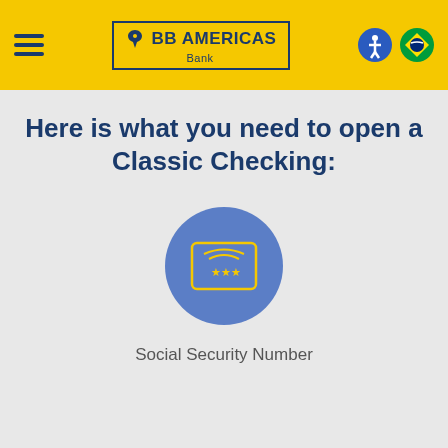BB Americas Bank
Here is what you need to open a Classic Checking:
[Figure (illustration): A blue circle containing a yellow-outlined card/ID icon with three yellow stars in the center, representing a Social Security card or ID document.]
Social Security Number